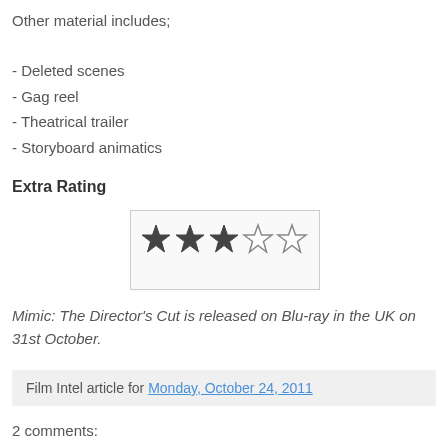Other material includes;
- Deleted scenes
- Gag reel
- Theatrical trailer
- Storyboard animatics
Extra Rating
[Figure (other): 3 out of 5 stars rating graphic — three filled dark stars and two empty stars]
Mimic: The Director's Cut is released on Blu-ray in the UK on 31st October.
Film Intel article for Monday, October 24, 2011
2 comments: